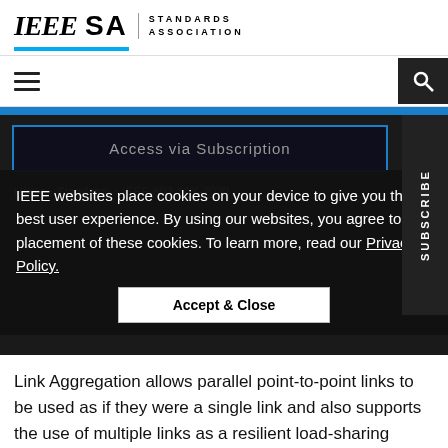[Figure (logo): IEEE SA Standards Association logo with blue underbar]
[Figure (screenshot): Navigation bar with hamburger menu and search icon on dark background]
Access via Subscription
IEEE websites place cookies on your device to give you the best user experience. By using our websites, you agree to the placement of these cookies. To learn more, read our Privacy Policy.
Home > Standards > IEEE 802.1AX-2020
Accept & Close
Link Aggregation allows parallel point-to-point links to be used as if they were a single link and also supports the use of multiple links as a resilient load-sharing interconnect between multiple nodes in two separately